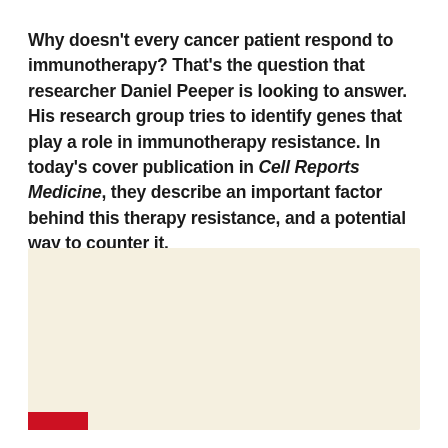Why doesn't every cancer patient respond to immunotherapy? That's the question that researcher Daniel Peeper is looking to answer. His research group tries to identify genes that play a role in immunotherapy resistance. In today's cover publication in Cell Reports Medicine, they describe an important factor behind this therapy resistance, and a potential way to counter it.
[Figure (photo): A light beige/cream colored rectangular image placeholder area, with a small red bar visible at the bottom left corner.]